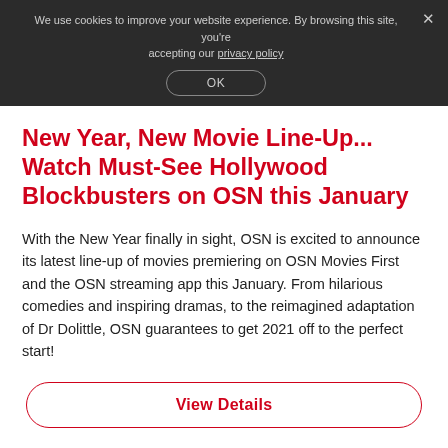We use cookies to improve your website experience. By browsing this site, you're accepting our privacy policy
New Year, New Movie Line-Up... Watch Must-See Hollywood Blockbusters on OSN this January
With the New Year finally in sight, OSN is excited to announce its latest line-up of movies premiering on OSN Movies First and the OSN streaming app this January. From hilarious comedies and inspiring dramas, to the reimagined adaptation of Dr Dolittle, OSN guarantees to get 2021 off to the perfect start!
View Details